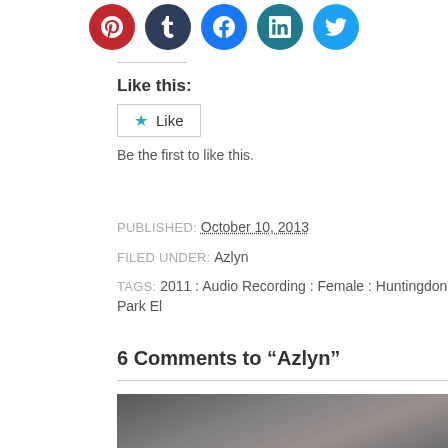[Figure (infographic): Row of social media share buttons: Pinterest (red), Tumblr (dark navy), Facebook (blue), LinkedIn (dark teal), Twitter (light blue)]
Like this:
Like
Be the first to like this.
PUBLISHED: October 10, 2013
FILED UNDER: Azlyn
TAGS: 2011 : Audio Recording : Female : Huntingdon Park El
6 Comments to “Azlyn”
[Figure (photo): Dark blurred photo at bottom of page, partially visible]